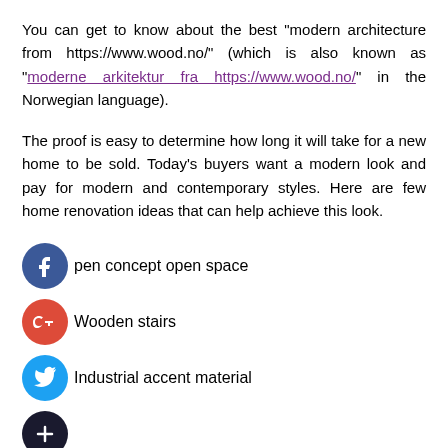You can get to know about the best "modern architecture from https://www.wood.no/" (which is also known as "moderne arkitektur fra https://www.wood.no/" in the Norwegian language).
The proof is easy to determine how long it will take for a new home to be sold. Today's buyers want a modern look and pay for modern and contemporary styles. Here are few home renovation ideas that can help achieve this look.
Open concept open space
Wooden stairs
Industrial accent material